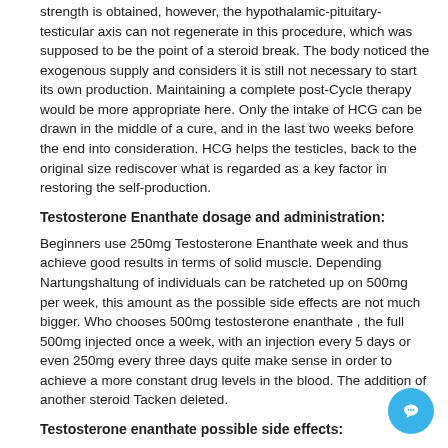strength is obtained, however, the hypothalamic-pituitary-testicular axis can not regenerate in this procedure, which was supposed to be the point of a steroid break. The body noticed the exogenous supply and considers it is still not necessary to start its own production. Maintaining a complete post-Cycle therapy would be more appropriate here. Only the intake of HCG can be drawn in the middle of a cure, and in the last two weeks before the end into consideration. HCG helps the testicles, back to the original size rediscover what is regarded as a key factor in restoring the self-production.
Testosterone Enanthate dosage and administration:
Beginners use 250mg Testosterone Enanthate week and thus achieve good results in terms of solid muscle. Depending Nartungshaltung of individuals can be ratcheted up on 500mg per week, this amount as the possible side effects are not much bigger. Who chooses 500mg testosterone enanthate , the full 500mg injected once a week, with an injection every 5 days or even 250mg every three days quite make sense in order to achieve a more constant drug levels in the blood. The addition of another steroid Tacken deleted.
Testosterone enanthate possible side effects:
As mentioned above, the expected side effects of Testosterone Enanthate application are quite low. Although theoretically oily skin, acne, prostate growth, negative influence on blood lipid levels, increased body hair growth, scalp hair loss. As well as increased blood pressure, increased risk of fat and water accumulation in excessive dosage, gynecomastia, virilization in women, early closure of the growth plates in adolescents, sexual stimul- lasting erections. And negative may impact on the psyche ( "Superman Syndrome" and excessive aggressiveness, not only in the training room) are